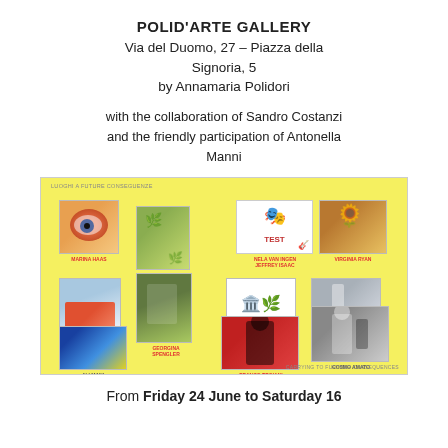POLID'ARTE GALLERY
Via del Duomo, 27 – Piazza della Signoria, 5
by Annamaria Polidori
with the collaboration of Sandro Costanzi and the friendly participation of Antonella Manni
[Figure (photo): Yellow background exhibition flyer showing thumbnails of artworks and artist names: Marina Haas, Myriam Laplante, Nela Van Ingen / Jeffrey Isaac, Virginia Ryan, Serafino Amato, Georgina Spengler, Ali Mani, Franco Troiani, Cosmo Amato, Gianluca Esposito. Top text: LUOGHI A FUTURE CONSEGUENZE. Bottom text: CARRYING TO FURTHER CONSEQUENCES.]
From Friday 24 June to Saturday 16